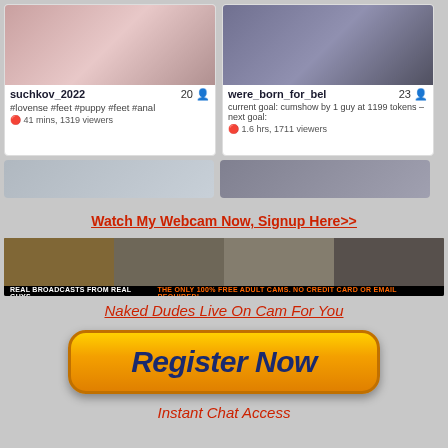[Figure (screenshot): Webcam thumbnail for suchkov_2022, age 20]
[Figure (screenshot): Webcam thumbnail for were_born_for_bel, age 23]
[Figure (screenshot): Partial webcam thumbnail row 2 left]
[Figure (screenshot): Partial webcam thumbnail row 2 right]
Watch My Webcam Now, Signup Here>>
[Figure (photo): Banner ad: REAL BROADCASTS FROM REAL GUYS. THE ONLY 100% FREE ADULT CAMS. NO CREDIT CARD OR EMAIL REQUIRED!]
Naked Dudes Live On Cam For You
[Figure (other): Register Now button - orange rounded rectangle button]
Instant Chat Access